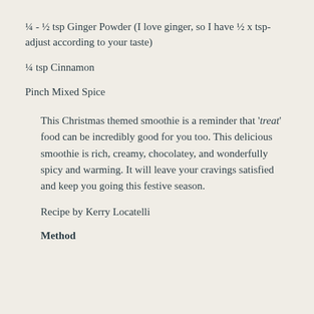¼ - ½ tsp Ginger Powder (I love ginger, so I have ½ x tsp- adjust according to your taste)
¼ tsp Cinnamon
Pinch Mixed Spice
This Christmas themed smoothie is a reminder that 'treat' food can be incredibly good for you too. This delicious smoothie is rich, creamy, chocolatey, and wonderfully spicy and warming. It will leave your cravings satisfied and keep you going this festive season.
Recipe by Kerry Locatelli
Method